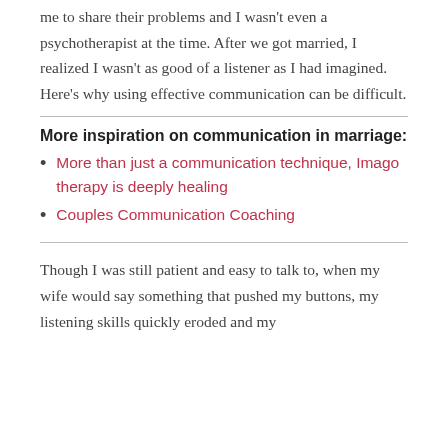me to share their problems and I wasn't even a psychotherapist at the time. After we got married, I realized I wasn't as good of a listener as I had imagined. Here's why using effective communication can be difficult.
More inspiration on communication in marriage:
More than just a communication technique, Imago therapy is deeply healing
Couples Communication Coaching
Though I was still patient and easy to talk to, when my wife would say something that pushed my buttons, my listening skills quickly eroded and my